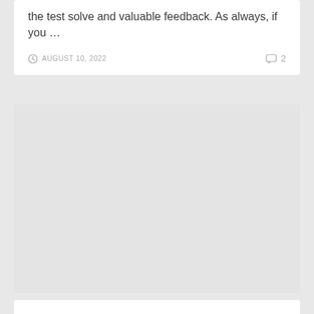the test solve and valuable feedback. As always, if you …
AUGUST 10, 2022  2
[Figure (other): Gray placeholder block representing a content area or image below the article card]